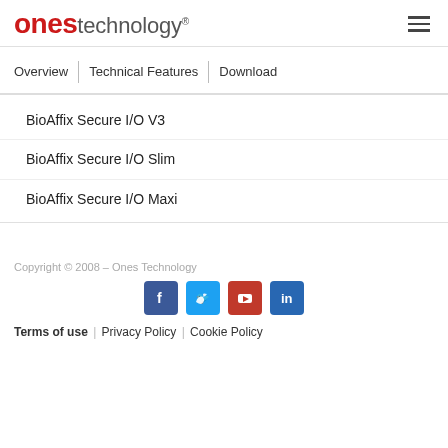ones technology
Overview
Technical Features
Download
BioAffix Secure I/O V3
BioAffix Secure I/O Slim
BioAffix Secure I/O Maxi
Copyright © 2008 – Ones Technology
Terms of use | Privacy Policy | Cookie Policy